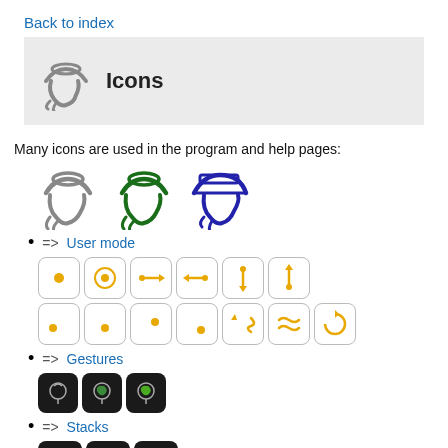Back to index
[Figure (illustration): Gray header banner with a user/profile icon (stylized head with hat) and bold text 'Icons']
Many icons are used in the program and help pages:
=> User mode (with gray, green, and blue user mode icons)
=> Gestures (with gesture control icons in yellow/gold)
=> Stacks (with brain/head icons on dark background)
[Figure (illustration): Row of head/hat icons showing user modes: gray, green, blue]